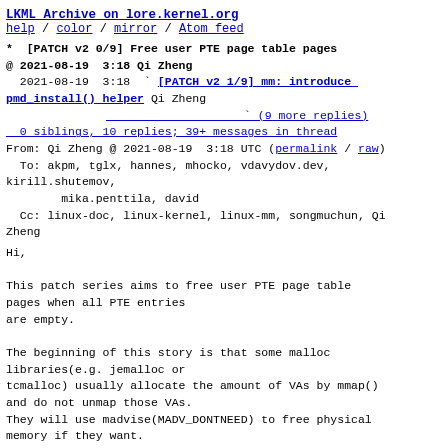LKML Archive on lore.kernel.org
help / color / mirror / Atom feed
* [PATCH v2 0/9] Free user PTE page table pages
@ 2021-08-19  3:18 Qi Zheng
  2021-08-19  3:18 ` [PATCH v2 1/9] mm: introduce pmd_install() helper Qi Zheng
                    ` (9 more replies)
  0 siblings, 10 replies; 39+ messages in thread
From: Qi Zheng @ 2021-08-19  3:18 UTC (permalink / raw)
  To: akpm, tglx, hannes, mhocko, vdavydov.dev, kirill.shutemov,
        mika.penttila, david
  Cc: linux-doc, linux-kernel, linux-mm, songmuchun, Qi Zheng
Hi,

This patch series aims to free user PTE page table pages when all PTE entries
are empty.

The beginning of this story is that some malloc libraries(e.g. jemalloc or
tcmalloc) usually allocate the amount of VAs by mmap()
and do not unmap those VAs.
They will use madvise(MADV_DONTNEED) to free physical
memory if they want.
But the page tables do not be freed by madvise(), so it
can produce many